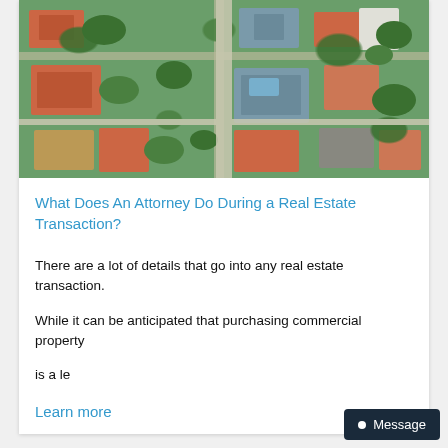[Figure (photo): Aerial/drone view of suburban neighborhood showing houses with orange/terracotta and grey roofs, green trees and gardens, streets]
What Does An Attorney Do During a Real Estate Transaction?
There are a lot of details that go into any real estate transaction.
While it can be anticipated that purchasing commercial property
is a le
Learn more